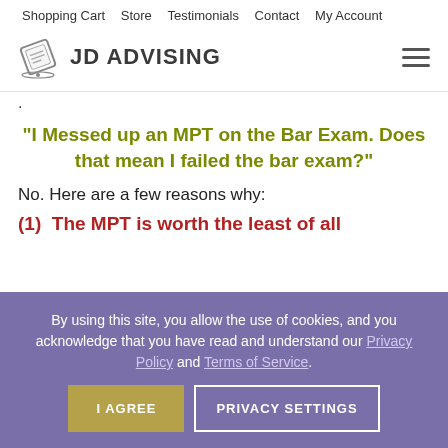Shopping Cart  Store  Testimonials  Contact  My Account
[Figure (logo): JD Advising logo with diploma icon and text JD ADVISING]
.
“I Messed up an MPT on the Bar Exam. Does that mean I failed the bar exam?”
No. Here are a few reasons why:
(1)  The MPT is worth the least of all
By using this site, you allow the use of cookies, and you acknowledge that you have read and understand our Privacy Policy and Terms of Service.
I AGREE    PRIVACY SETTINGS